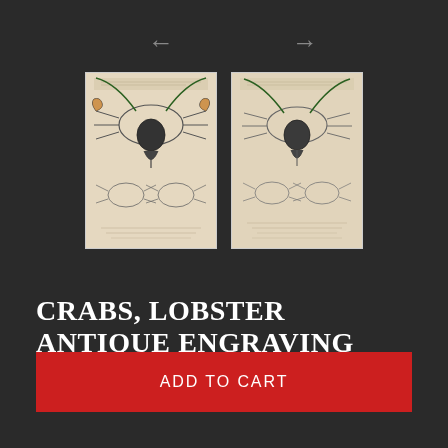[Figure (illustration): Two antique engraving thumbnail images of crabs and lobster, side by side, with navigation arrows (left and right) above them, on a dark background.]
CRABS, LOBSTER ANTIQUE ENGRAVING
$35.00 USD
ADD TO CART